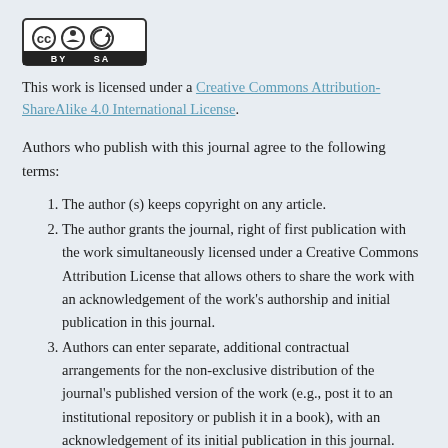[Figure (logo): Creative Commons CC BY SA logo with icons for CC, BY, and SA symbols in a bordered box]
This work is licensed under a Creative Commons Attribution-ShareAlike 4.0 International License.
Authors who publish with this journal agree to the following terms:
The author (s) keeps copyright on any article.
The author grants the journal, right of first publication with the work simultaneously licensed under a Creative Commons Attribution License that allows others to share the work with an acknowledgement of the work's authorship and initial publication in this journal.
Authors can enter separate, additional contractual arrangements for the non-exclusive distribution of the journal's published version of the work (e.g., post it to an institutional repository or publish it in a book), with an acknowledgement of its initial publication in this journal.
Authors are permitted and encouraged to post their work online (e.g., in institutional repositories or on their website)